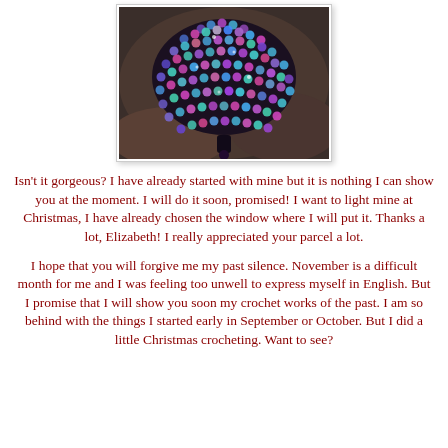[Figure (photo): Close-up photo of a beaded ornament or crochet piece covered in multicolored iridescent crystal beads arranged in a dome/round shape against a dark background. The beads are blue, purple, green, silver and multicolored.]
Isn't it gorgeous? I have already started with mine but it is nothing I can show you at the moment. I will do it soon, promised! I want to light mine at Christmas, I have already chosen the window where I will put it. Thanks a lot, Elizabeth! I really appreciated your parcel a lot.
I hope that you will forgive me my past silence. November is a difficult month for me and I was feeling too unwell to express myself in English. But I promise that I will show you soon my crochet works of the past. I am so behind with the things I started early in September or October. But I did a little Christmas crocheting. Want to see?